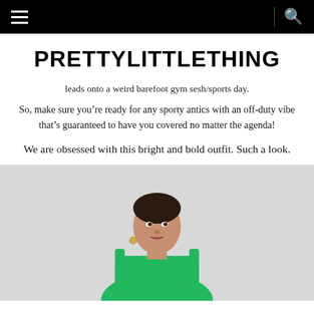PrettyLittleThing navigation bar
PRETTYLITTLETHING
leads onto a weird barefoot gym sesh/sports day.
So, make sure you’re ready for any sporty antics with an off-duty vibe that’s guaranteed to have you covered no matter the agenda!
We are obsessed with this bright and bold outfit. Such a look.
[Figure (photo): A woman with slicked-back hair wearing a bright green outfit, photographed from shoulders up against a light grey background.]